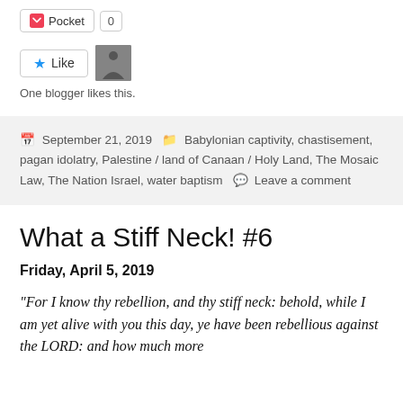[Figure (screenshot): Pocket save button with count 0]
[Figure (screenshot): Like button with star icon and blogger avatar thumbnail]
One blogger likes this.
September 21, 2019  Babylonian captivity, chastisement, pagan idolatry, Palestine / land of Canaan / Holy Land, The Mosaic Law, The Nation Israel, water baptism  Leave a comment
What a Stiff Neck! #6
Friday, April 5, 2019
“For I know thy rebellion, and thy stiff neck: behold, while I am yet alive with you this day, ye have been rebellious against the LORD: and how much more